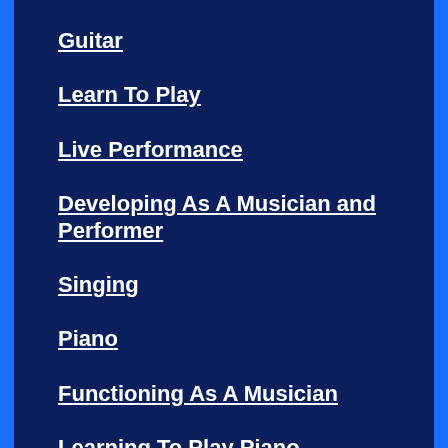Guitar
Learn To Play
Live Performance
Developing As A Musician and Performer
Singing
Piano
Functioning As A Musician
Learning To Play Piano
Ways To Learn